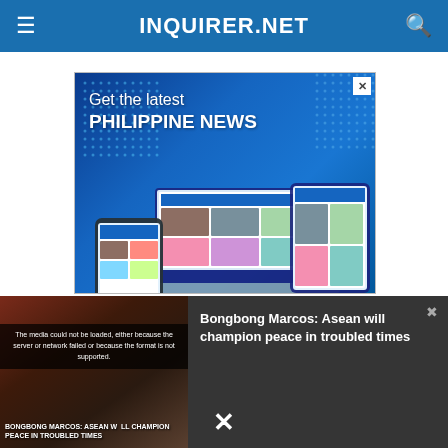INQUIRER.NET
[Figure (screenshot): Advertisement banner for Inquirer.net app showing 'Get the latest PHILIPPINE NEWS' with device mockups (phone, laptop, tablet) on a blue background]
[Figure (screenshot): Video player overlay at bottom showing 'Bongbong Marcos: Asean will champion peace in troubled times' with thumbnail image and media error message]
Bongbong Marcos: Asean will champion peace in troubled times
The media could not be loaded, either because the server or network failed or because the format is not supported.